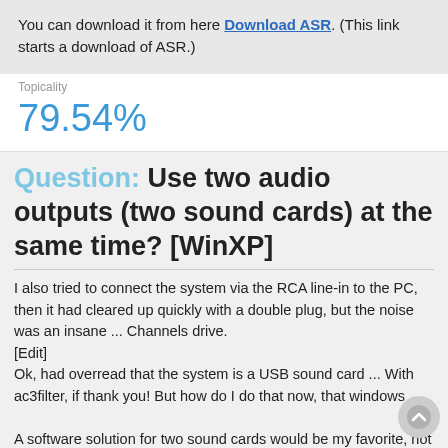You can download it from here Download ASR. (This link starts a download of ASR.)
Topicality
79.54%
Question: Use two audio outputs (two sound cards) at the same time? [WinXP]
I also tried to connect the system via the RCA line-in to the PC, then it had cleared up quickly with a double plug, but the noise was an insane ... Channels drive.
[Edit]
Ok, had overread that the system is a USB sound card ... With ac3filter, if thank you! But how do I do that now, that windows

A software solution for two sound cards would be my favorite, not about a line out.